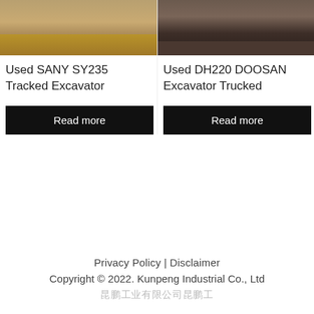[Figure (photo): Used SANY SY235 tracked excavator on sandy/dirt ground, top portion of image visible]
[Figure (photo): Used DH220 Doosan excavator in darker indoor/warehouse setting, top portion of image visible]
Used SANY SY235 Tracked Excavator
Used DH220 DOOSAN Excavator Trucked
Read more
Read more
Privacy Policy | Disclaimer
Copyright © 2022. Kunpeng Industrial Co., Ltd
昆鹏工业有限公司